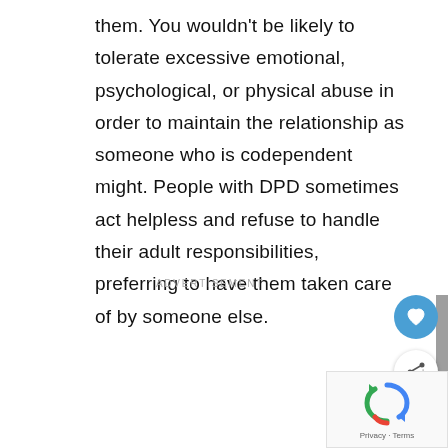them. You wouldn't be likely to tolerate excessive emotional, psychological, or physical abuse in order to maintain the relationship as someone who is codependent might. People with DPD sometimes act helpless and refuse to handle their adult responsibilities, preferring to have them taken care of by someone else.
ADVERTISEMENT